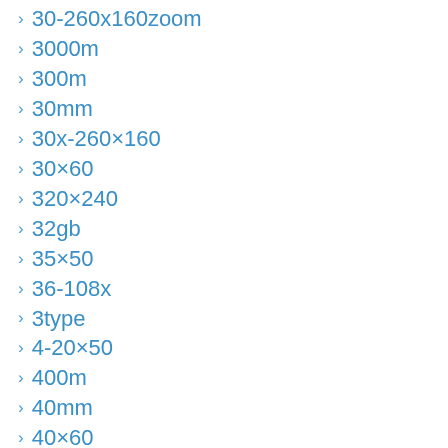30-260x160zoom
3000m
300m
30mm
30x-260×160
30×60
320×240
32gb
35×50
36-108x
3type
4-20×50
400m
40mm
40×60
43"
45×40
4inch7x31